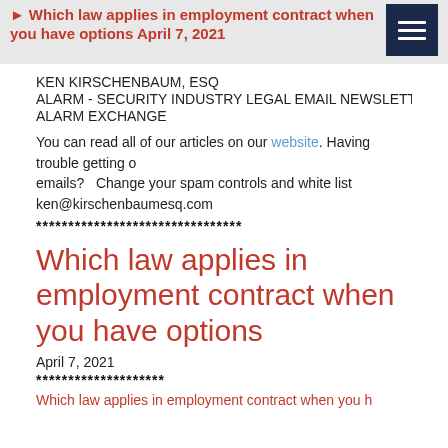Which law applies in employment contract when you have options April 7, 2021
KEN KIRSCHENBAUM, ESQ
ALARM - SECURITY INDUSTRY LEGAL EMAIL NEWSLETTER / THE ALARM EXCHANGE
You can read all of our articles on our website. Having trouble getting emails? Change your spam controls and white list ken@kirschenbaumesq.com
********************************
Which law applies in employment contract when you have options
April 7, 2021
********************
Which law applies in employment contract when you h